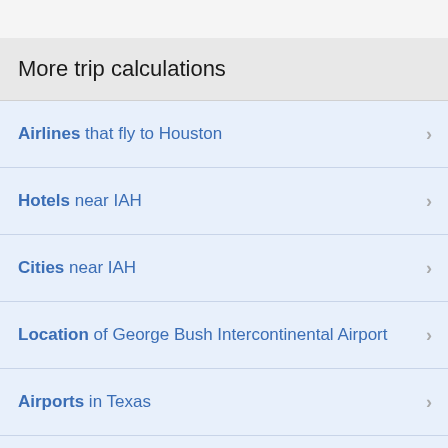More trip calculations
Airlines that fly to Houston
Hotels near IAH
Cities near IAH
Location of George Bush Intercontinental Airport
Airports in Texas
Cities in Texas
Airports in the United States
Cities in the United States